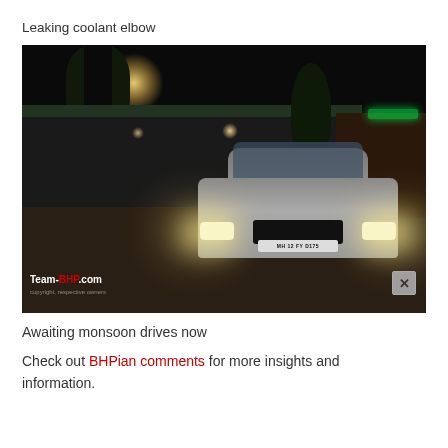Leaking coolant elbow
[Figure (photo): Night-time photograph of a silver Skoda car (license plate MH 12 FY D175) parked in a dimly lit outdoor area with headlights on. Background shows a shed/canopy structure, trees, and buildings. Team-BHP.com watermark in bottom-left corner.]
Awaiting monsoon drives now
Check out BHPian comments for more insights and information.